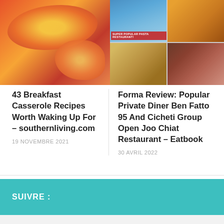[Figure (photo): Two food article thumbnail images side by side. Left: baked breakfast casserole with tomatoes and sausage. Right: grid of 4 images showing pasta restaurant scene with overlay text 'SUPER POPULAR PASTA RESTAURANT!', pasta dish, and sliced beef.]
43 Breakfast Casserole Recipes Worth Waking Up For – southernliving.com
19 NOVEMBRE 2021
Forma Review: Popular Private Diner Ben Fatto 95 And Cicheti Group Open Joo Chiat Restaurant – Eatbook
30 AVRIL 2022
SUIVRE :
ARTICLE SUIVANT
Number is up for calories on menus – The Times